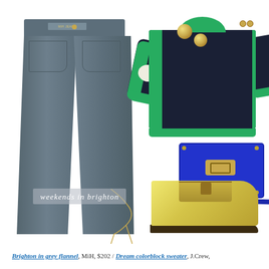[Figure (photo): Fashion flat-lay styled outfit: grey flannel straight-leg jeans (MiH), navy/green colorblock sweater with elbow patch and shoulder buttons (J.Crew), gold circle stud earrings, cobalt blue structured crossbody bag with gold hardware and chain strap, delicate gold lariat necklace, and metallic gold penny loafers. Text watermark reads 'weekends in brighton' in italic script on a grey band.]
Brighton in grey flannel, MiH, $202 / Dream colorblock sweater, J.Crew,